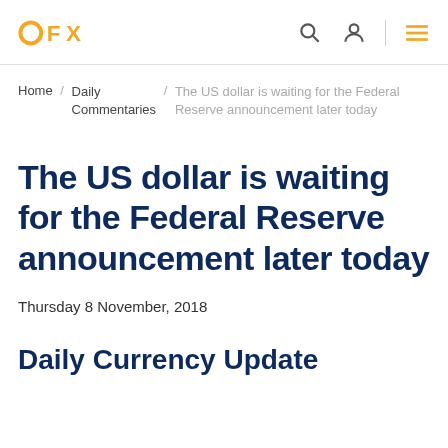OFX
Home / Daily Commentaries / The US dollar is waiting for the Federal Reserve announcement later today
The US dollar is waiting for the Federal Reserve announcement later today
Thursday 8 November, 2018
Daily Currency Update